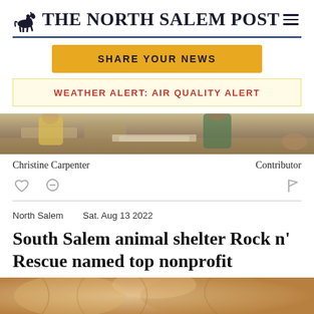THE NORTH SALEM POST
SHARE YOUR NEWS
WEATHER ALERT: AIR QUALITY ALERT
[Figure (photo): Partial photo strip showing people at a table, cropped at top of page]
Christine Carpenter
Contributor
North Salem    Sat. Aug 13 2022
South Salem animal shelter Rock n' Rescue named top nonprofit
[Figure (photo): Partial photo of a light-colored dog, cropped at bottom of page]